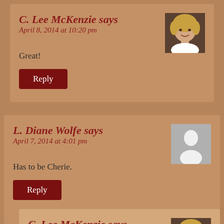C. Lee McKenzie says
April 8, 2014 at 10:20 pm
Great!
Reply
L. Diane Wolfe says
April 7, 2014 at 4:01 pm
Has to be Cherie.
Reply
C. Lee McKenzie says
April 8, 2014 at 10:20 pm